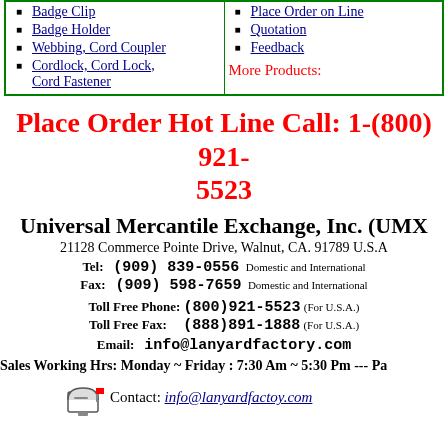Badge Clip
Badge Holder
Webbing, Cord Coupler
Cordlock, Cord Lock, Cord Fastener
Place Order on Line
Quotation
Feedback
More Products:
Place Order Hot Line Call: 1-(800) 921-5523
Universal Mercantile Exchange, Inc. (UMX
21128 Commerce Pointe Drive, Walnut, CA. 91789 U.S.A
Tel: (909) 839-0556 Domestic and International
Fax: (909) 598-7659 Domestic and International
Toll Free Phone: (800)921-5523 (For U.S.A.)
Toll Free Fax: (888)891-1888 (For U.S.A.)
Email: info@lanyardfactory.com
Sales Working Hrs: Monday ~ Friday : 7:30 Am ~ 5:30 Pm --- Pa
Contact: info@lanyardfactoy.com